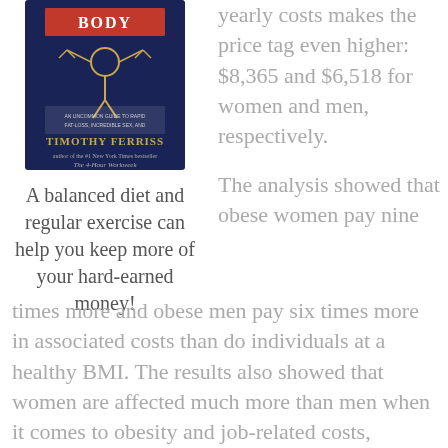[Figure (photo): Book cover of 'The 4-Hour Body' by Timothy Ferriss, dark blue cover with a figure in meditation pose on a balance scale]
A balanced diet and regular exercise can help you keep more of your hard-earned money!
yearly costs makes the price tag even higher: $8,365 and $6,518 for women and men, respectively.
The analysis showed that obese women pay nine times more and obese men pay six times more in associated costs than do individuals at a healthy BMI. The results also showed that women are affected much more than men when it comes to obesity and job-related costs, including lost wages, absenteeism, and disability